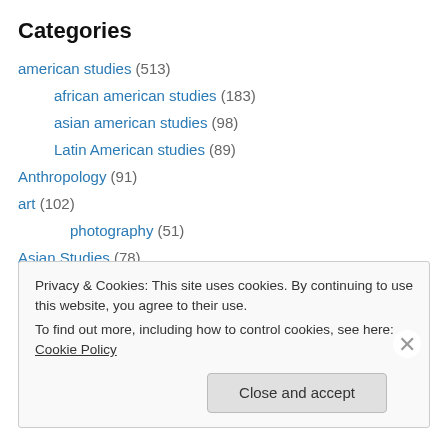Categories
american studies (513)
african american studies (183)
asian american studies (98)
Latin American studies (89)
Anthropology (91)
art (102)
photography (51)
Asian Studies (78)
civil rights (171)
cultural studies (354)
Disability Studies (44)
Privacy & Cookies: This site uses cookies. By continuing to use this website, you agree to their use. To find out more, including how to control cookies, see here: Cookie Policy
Close and accept